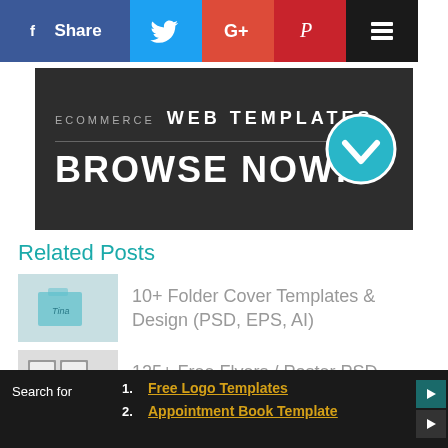[Figure (screenshot): Social share bar with Facebook (Share), Twitter, Google+, Pinterest, and Layers buttons]
[Figure (screenshot): Dark banner reading 'ECOMMERCE WEB TEMPLATES' and 'BROWSE NOW!' with teal circle checkmark button]
Related Posts
[Figure (photo): Thumbnail of folder cover template - light blue folder]
10+ Folder Cover Templates & Design (PSD, EPS, AI)
[Figure (photo): Thumbnail of flyers/poster mockups - framed prints]
125+ Free Flyers / Poster PSD Mockups 2019
Search for  1. Free Logo Templates  2. Appointment Book Template